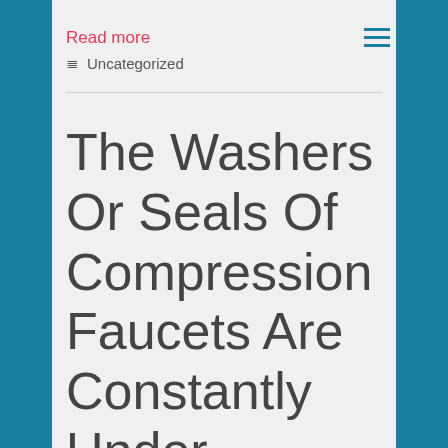Read more
≡ Uncategorized
The Washers Or Seals Of Compression Faucets Are Constantly Under Pressure So They Wear